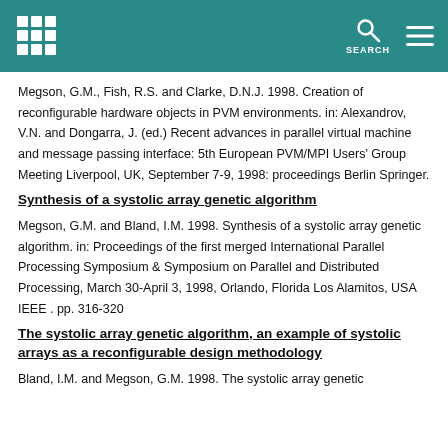SEARCH
Megson, G.M., Fish, R.S. and Clarke, D.N.J. 1998. Creation of reconfigurable hardware objects in PVM environments. in: Alexandrov, V.N. and Dongarra, J. (ed.) Recent advances in parallel virtual machine and message passing interface: 5th European PVM/MPI Users' Group Meeting Liverpool, UK, September 7-9, 1998: proceedings Berlin Springer.
Synthesis of a systolic array genetic algorithm
Megson, G.M. and Bland, I.M. 1998. Synthesis of a systolic array genetic algorithm. in: Proceedings of the first merged International Parallel Processing Symposium & Symposium on Parallel and Distributed Processing, March 30-April 3, 1998, Orlando, Florida Los Alamitos, USA IEEE . pp. 316-320
The systolic array genetic algorithm, an example of systolic arrays as a reconfigurable design methodology
Bland, I.M. and Megson, G.M. 1998. The systolic array genetic